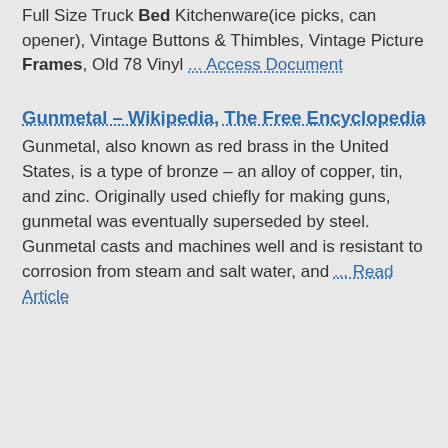Full Size Truck Bed Kitchenware(ice picks, can opener), Vintage Buttons & Thimbles, Vintage Picture Frames, Old 78 Vinyl ... Access Document
Gunmetal – Wikipedia, The Free Encyclopedia
Gunmetal, also known as red brass in the United States, is a type of bronze – an alloy of copper, tin, and zinc. Originally used chiefly for making guns, gunmetal was eventually superseded by steel. Gunmetal casts and machines well and is resistant to corrosion from steam and salt water, and ... Read Article